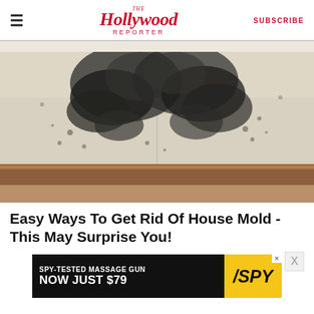THE Hollywood Reporter — SUBSCRIBE
[Figure (photo): Black mold growing on a white wall at the corner/baseboard area, with brown wood baseboard trim visible at the bottom]
Easy Ways To Get Rid Of House Mold - This May Surprise You!
[Figure (other): SPY advertisement banner: SPY-TESTED MASSAGE GUN NOW JUST $79 with yellow SPY logo]